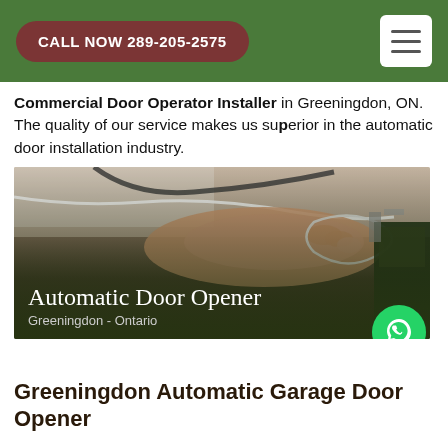CALL NOW 289-205-2575
Commercial Door Operator Installer in Greeningdon, ON. The quality of our service makes us superior in the automatic door installation industry.
[Figure (photo): A person's hand working with wires and cables on a garage door opener mechanism. Overlaid text reads 'Automatic Door Opener' and 'Greeningdon - Ontario'. A green WhatsApp phone icon button is visible in the bottom right.]
Greeningdon Automatic Garage Door Opener